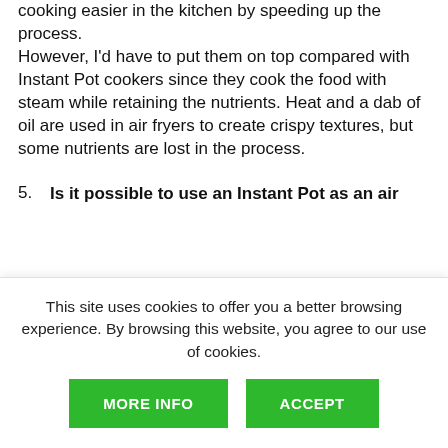cooking easier in the kitchen by speeding up the process. However, I'd have to put them on top compared with Instant Pot cookers since they cook the food with steam while retaining the nutrients. Heat and a dab of oil are used in air fryers to create crispy textures, but some nutrients are lost in the process.
5. Is it possible to use an Instant Pot as an air
This site uses cookies to offer you a better browsing experience. By browsing this website, you agree to our use of cookies.